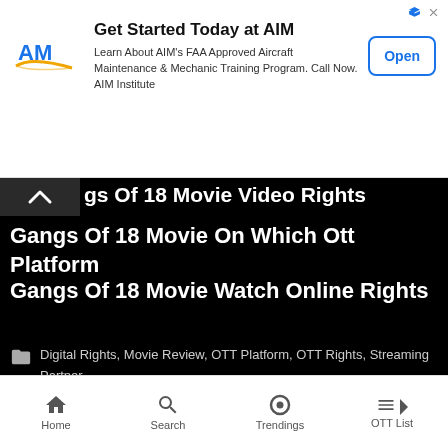[Figure (screenshot): AIM Institute advertisement banner. Logo on left (AM with wing), headline 'Get Started Today at AIM', body text about FAA Approved Aircraft Maintenance & Mechanic Training Program, and an 'Open' button.]
gs Of 18 Movie Video Rights
Gangs Of 18 Movie On Which Ott Platform
Gangs Of 18 Movie Watch Online Rights
Digital Rights, Movie Review, OTT Platform, OTT Rights, Streaming Partner
Digital Rights, movie watch online, movue reviews, ott platform, OTT Release Date, Streaming Partner, where to watch
[Figure (screenshot): Business Loan advertisement banner with text 'Apply for a Business Loan' in blue.]
Home  Search  Trendings  OTT List